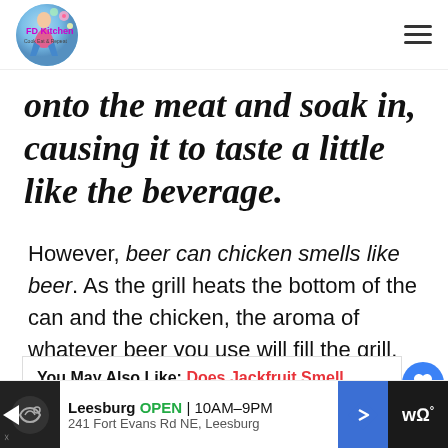FD Kitchen - Cook Eat & Repeat
onto the meat and soak in, causing it to taste a little like the beverage.
However, beer can chicken smells like beer. As the grill heats the bottom of the can and the chicken, the aroma of whatever beer you use will fill the grill.
You May Also Like: Does Jackfruit Smell Bad? The Stinky Truth!
[Figure (screenshot): Advertisement banner: Leesburg OPEN 10AM-9PM, 241 Fort Evans Rd NE, Leesburg]